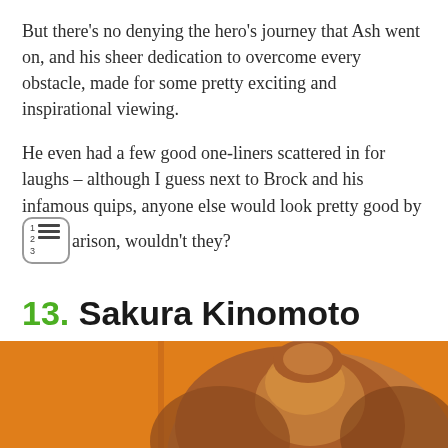But there's no denying the hero's journey that Ash went on, and his sheer dedication to overcome every obstacle, made for some pretty exciting and inspirational viewing.

He even had a few good one-liners scattered in for laughs – although I guess next to Brock and his infamous quips, anyone else would look pretty good by comparison, wouldn't they?
13. Sakura Kinomoto
[Figure (illustration): Anime-style illustration of Sakura Kinomoto showing the top of her head with brown hair against an orange background]